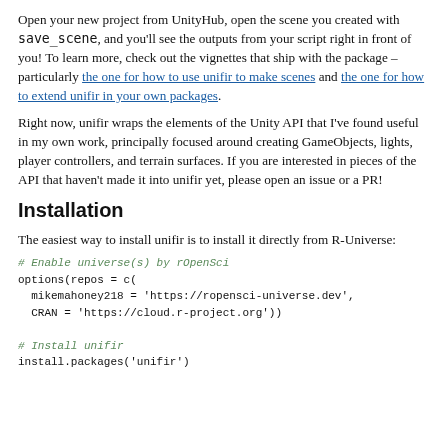Open your new project from UnityHub, open the scene you created with save_scene, and you'll see the outputs from your script right in front of you! To learn more, check out the vignettes that ship with the package – particularly the one for how to use unifir to make scenes and the one for how to extend unifir in your own packages.
Right now, unifir wraps the elements of the Unity API that I've found useful in my own work, principally focused around creating GameObjects, lights, player controllers, and terrain surfaces. If you are interested in pieces of the API that haven't made it into unifir yet, please open an issue or a PR!
Installation
The easiest way to install unifir is to install it directly from R-Universe: